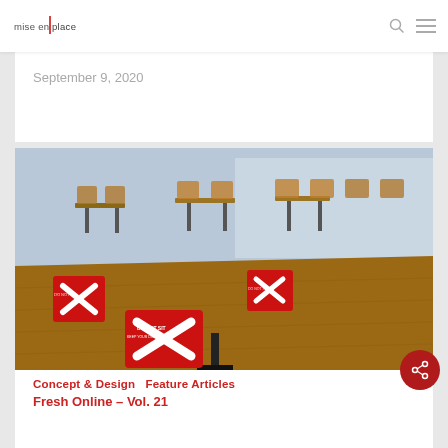mise en | place
September 9, 2020
[Figure (photo): Restaurant interior with wooden tables and chairs, showing red square signs with white X marks and text 'DO NOT SIT' for COVID-19 social distancing measures.]
Concept & Design  Feature Articles
Fresh Online – Vol. 21